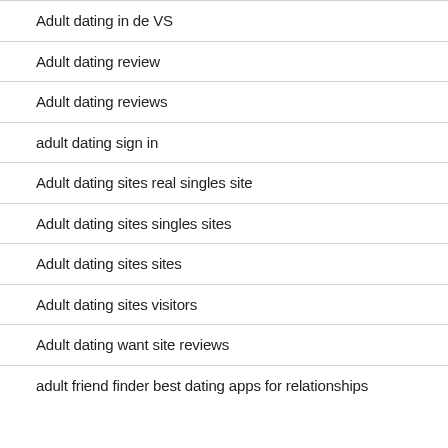Adult dating in de VS
Adult dating review
Adult dating reviews
adult dating sign in
Adult dating sites real singles site
Adult dating sites singles sites
Adult dating sites sites
Adult dating sites visitors
Adult dating want site reviews
adult friend finder best dating apps for relationships